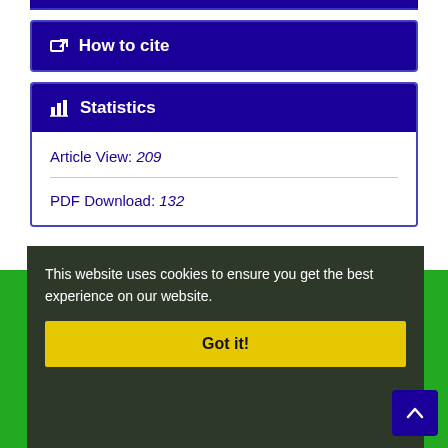How to cite
Statistics
Article View: 209
PDF Download: 132
This website uses cookies to ensure you get the best experience on our website.
Got it!
Home
About Journal
Editorial Board